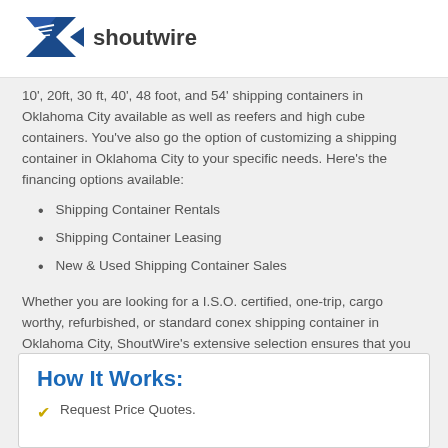[Figure (logo): Shoutwire logo with blue eagle/arrow graphic and text 'shoutwire']
10', 20ft, 30 ft, 40', 48 foot, and 54' shipping containers in Oklahoma City available as well as reefers and high cube containers. You've also go the option of customizing a shipping container in Oklahoma City to your specific needs. Here's the financing options available:
Shipping Container Rentals
Shipping Container Leasing
New & Used Shipping Container Sales
Whether you are looking for a I.S.O. certified, one-trip, cargo worthy, refurbished, or standard conex shipping container in Oklahoma City, ShoutWire's extensive selection ensures that you will find the right unit for your needs. Check out the breakdown of Oklahoma City shipping container costs or request a quote to instantly get an exact quote.
How It Works:
Request Price Quotes.